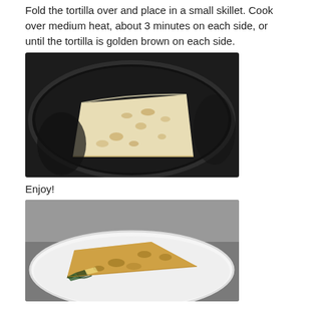Fold the tortilla over and place in a small skillet. Cook over medium heat, about 3 minutes on each side, or until the tortilla is golden brown on each side.
[Figure (photo): A folded tortilla quesadilla cooking in a dark non-stick skillet, golden brown on the outside.]
Enjoy!
[Figure (photo): Close-up of a finished quesadilla on a white plate, showing the golden-brown exterior and spinach filling inside.]